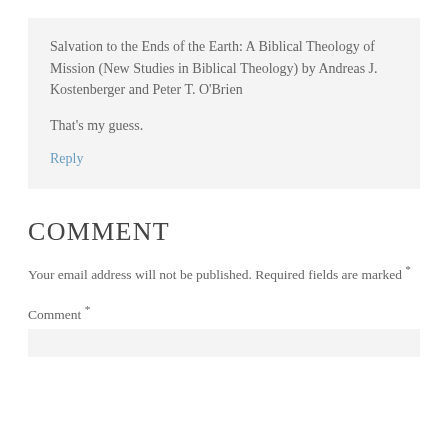Salvation to the Ends of the Earth: A Biblical Theology of Mission (New Studies in Biblical Theology) by Andreas J. Kostenberger and Peter T. O'Brien
That's my guess.
Reply
Comment
Your email address will not be published. Required fields are marked *
Comment *